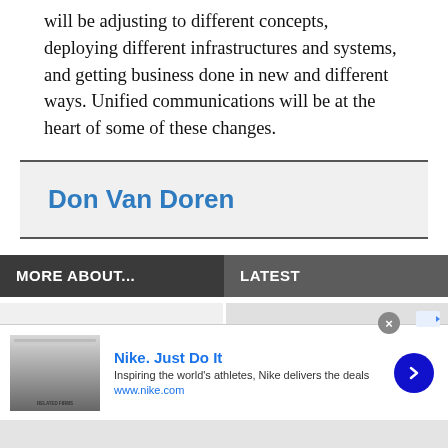will be adjusting to different concepts, deploying different infrastructures and systems, and getting business done in new and different ways. Unified communications will be at the heart of some of these changes.
Don Van Doren
MORE ABOUT...
LATEST
[Figure (screenshot): Advertisement: Nike. Just Do It - Inspiring the world's athletes, Nike delivers the deals. www.nike.com]